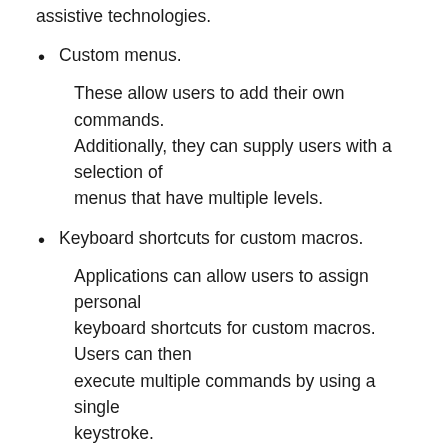assistive technologies.
Custom menus.
These allow users to add their own commands. Additionally, they can supply users with a selection of menus that have multiple levels.
Keyboard shortcuts for custom macros.
Applications can allow users to assign personal keyboard shortcuts for custom macros. Users can then execute multiple commands by using a single keystroke.
System-wide controls, such as a combo box or list-view control, automatically support full keyboard accessibility. However, be sure to supply a custom keyboard interface when you are:
Creating custom single-element controls.